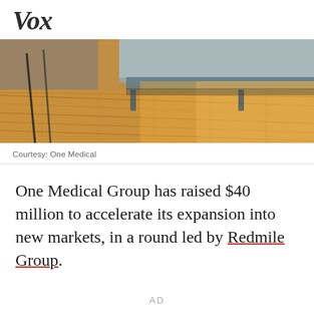Vox
[Figure (photo): Interior room photo showing warm wooden floorboards with sunlight, a chair leg and part of a blue cabinet visible in background]
Courtesy: One Medical
One Medical Group has raised $40 million to accelerate its expansion into new markets, in a round led by Redmile Group.
AD